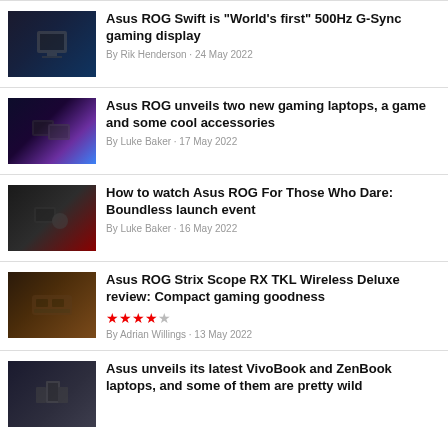Asus ROG Swift is "World's first" 500Hz G-Sync gaming display — By Rik Henderson · 24 May 2022
Asus ROG unveils two new gaming laptops, a game and some cool accessories — By Luke Baker · 17 May 2022
How to watch Asus ROG For Those Who Dare: Boundless launch event — By Luke Baker · 16 May 2022
Asus ROG Strix Scope RX TKL Wireless Deluxe review: Compact gaming goodness — ★★★★☆ — By Adrian Willings · 13 May 2022
Asus unveils its latest VivoBook and ZenBook laptops, and some of them are pretty wild